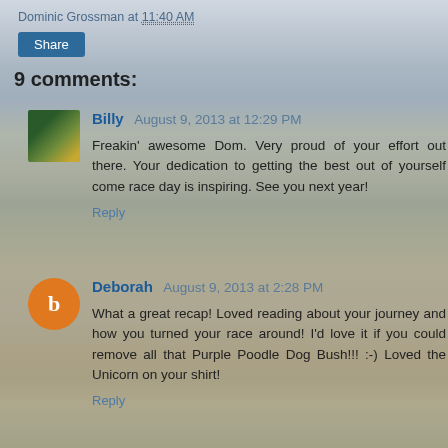Dominic Grossman at 11:40 AM
Share
9 comments:
Billy August 9, 2013 at 12:29 PM
Freakin' awesome Dom. Very proud of your effort out there. Your dedication to getting the best out of yourself come race day is inspiring. See you next year!
Reply
Deborah August 9, 2013 at 2:28 PM
What a great recap! Loved reading about your journey and how you turned your race around! I'd love it if you could remove all that Purple Poodle Dog Bush!!! :-) Loved the Unicorn on your shirt!
Reply